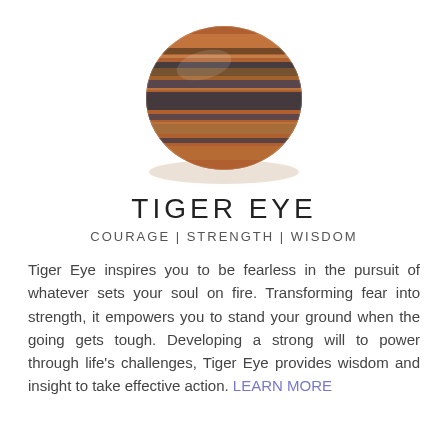[Figure (photo): A polished Tiger Eye gemstone with characteristic golden-brown and dark gray banded striations, shown on a white background with a subtle oval shadow beneath it.]
TIGER EYE
COURAGE | STRENGTH | WISDOM
Tiger Eye inspires you to be fearless in the pursuit of whatever sets your soul on fire. Transforming fear into strength, it empowers you to stand your ground when the going gets tough. Developing a strong will to power through life's challenges, Tiger Eye provides wisdom and insight to take effective action. LEARN MORE